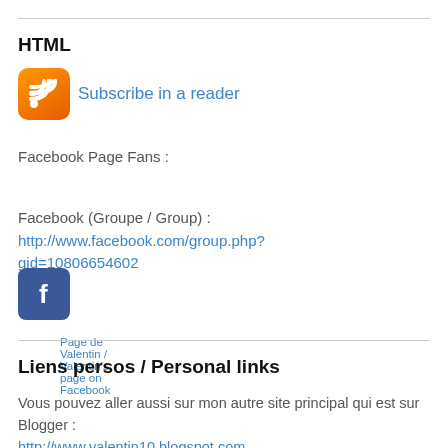HTML
[Figure (logo): RSS feed orange icon with subscribe link]
Facebook Page Fans :
Page de Valentin / Valentin's page on Facebook
Facebook (Groupe / Group) : http://www.facebook.com/group.php?gid=10806654602
[Figure (logo): Facebook blue icon with 'f' logo]
Liens persos / Personal links
Vous pouvez aller aussi sur mon autre site principal qui est sur Blogger : http://www.valentin10.blogspot.com